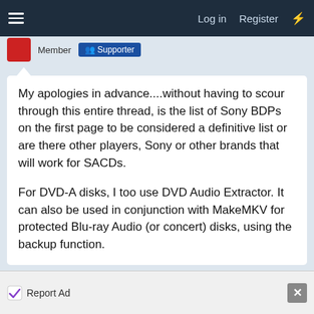Log in  Register
My apologies in advance....without having to scour through this entire thread, is the list of Sony BDPs on the first page to be considered a definitive list or are there other players, Sony or other brands that will work for SACDs.
For DVD-A disks, I too use DVD Audio Extractor. It can also be used in conjunction with MakeMKV for protected Blu-ray Audio (or concert) disks, using the backup function.
I have a copy of Open Your Eyes, by Yes with M/C audio using a technology called SAIL. I will try DVD Audio extractor to see if I can RIP the M/C audio.
Report Ad